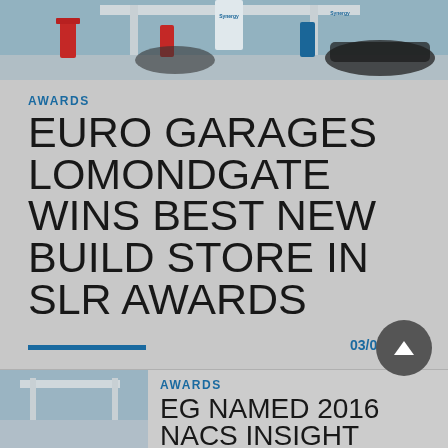[Figure (photo): Photograph of a petrol station forecourt with fuel pumps and canopy, Synergy branding visible]
AWARDS
EURO GARAGES LOMONDGATE WINS BEST NEW BUILD STORE IN SLR AWARDS
03/06/2016
AWARDS
EG NAMED 2016 NACS INSIGHT